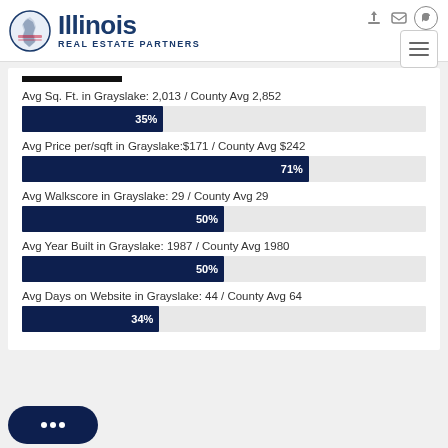[Figure (logo): Illinois Real Estate Partners logo with state outline icon]
[Figure (bar-chart): Grayslake Real Estate Stats]